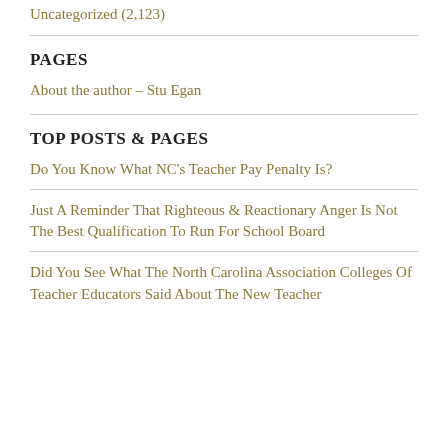Uncategorized (2,123)
PAGES
About the author – Stu Egan
TOP POSTS & PAGES
Do You Know What NC's Teacher Pay Penalty Is?
Just A Reminder That Righteous & Reactionary Anger Is Not The Best Qualification To Run For School Board
Did You See What The North Carolina Association Colleges Of Teacher Educators Said About The New Teacher